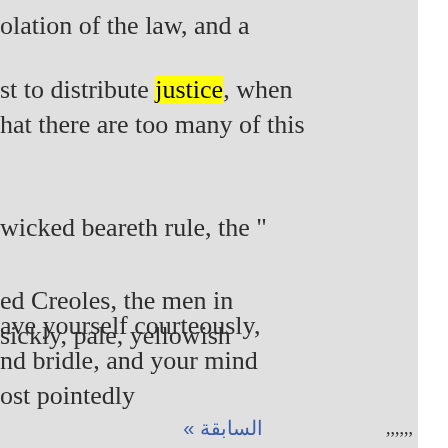olation of the law, and a
st to distribute justice, when hat there are too many of this
wicked beareth rule, the "
ave yourself courteously, nd bridle, and your mind ost pointedly
ed Creoles, the men in sickly, pale, yellowish
« السابقة  ,,,,,,